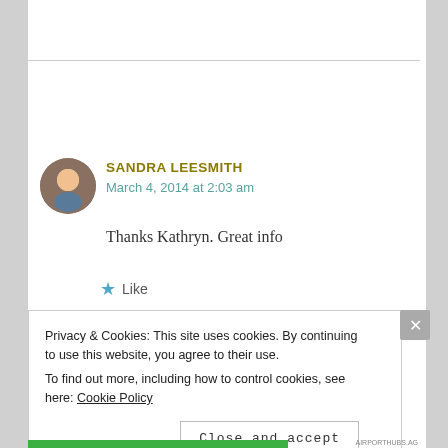SANDRA LEESMITH
March 4, 2014 at 2:03 am
Thanks Kathryn. Great info
Like
Privacy & Cookies: This site uses cookies. By continuing to use this website, you agree to their use. To find out more, including how to control cookies, see here: Cookie Policy
Close and accept